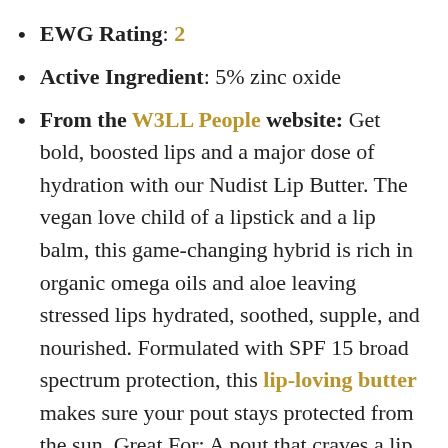EWG Rating: 2
Active Ingredient: 5% zinc oxide
From the W3LL People website: Get bold, boosted lips and a major dose of hydration with our Nudist Lip Butter. The vegan love child of a lipstick and a lip balm, this game-changing hybrid is rich in organic omega oils and aloe leaving stressed lips hydrated, soothed, supple, and nourished. Formulated with SPF 15 broad spectrum protection, this lip-loving butter makes sure your pout stays protected from the sun. Great For: A pout that craves a lip balm but loves a pop of color. Dry lips in need of hydration. Lips that